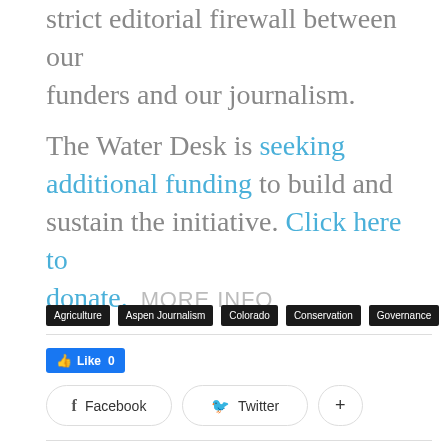strict editorial firewall between our funders and our journalism. The Water Desk is seeking additional funding to build and sustain the initiative. Click here to donate.    MORE INFO
Agriculture
Aspen Journalism
Colorado
Conservation
Governance
[Figure (other): Facebook Like button showing count 0, followed by Facebook, Twitter, and more (+) share buttons]